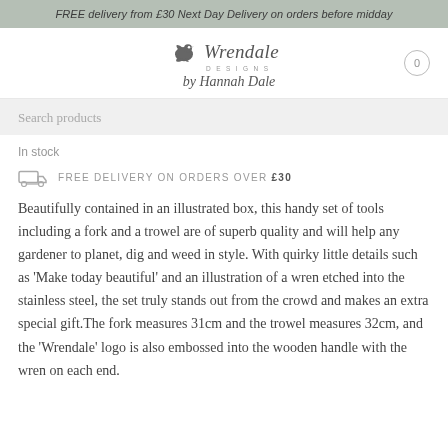FREE delivery from £30 Next Day Delivery on orders before midday
[Figure (logo): Wrendale Designs by Hannah Dale logo with bird icon]
Search products
In stock
FREE DELIVERY ON ORDERS OVER £30
Beautifully contained in an illustrated box, this handy set of tools including a fork and a trowel are of superb quality and will help any gardener to planet, dig and weed in style. With quirky little details such as 'Make today beautiful' and an illustration of a wren etched into the stainless steel, the set truly stands out from the crowd and makes an extra special gift.The fork measures 31cm and the trowel measures 32cm, and the 'Wrendale' logo is also embossed into the wooden handle with the wren on each end.